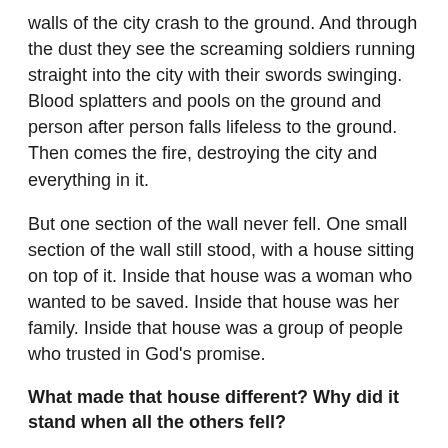walls of the city crash to the ground. And through the dust they see the screaming soldiers running straight into the city with their swords swinging. Blood splatters and pools on the ground and person after person falls lifeless to the ground. Then comes the fire, destroying the city and everything in it.
But one section of the wall never fell. One small section of the wall still stood, with a house sitting on top of it. Inside that house was a woman who wanted to be saved. Inside that house was her family. Inside that house was a group of people who trusted in God's promise.
What made that house different? Why did it stand when all the others fell?
After all, there were plenty of other houses. There were plenty of other people huddled in other houses. What made this one different? This house had a window. Out of that window hung a cord—a scarlet cord. That cord is what made that house